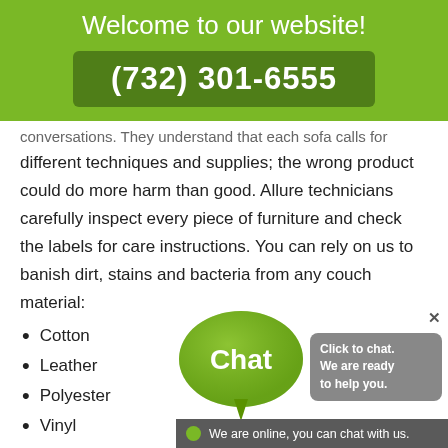Welcome to our website!
(732) 301-6555
conversations. They understand that each sofa calls for different techniques and supplies; the wrong product could do more harm than good. Allure technicians carefully inspect every piece of furniture and check the labels for care instructions. You can rely on us to banish dirt, stains and bacteria from any couch material:
Cotton
Leather
Polyester
Vinyl
[Figure (infographic): Chat widget overlay with green speech bubble labeled 'Chat', text 'Click to chat. We are ready to help you.' and a status bar saying 'We are online, you can chat with us.']